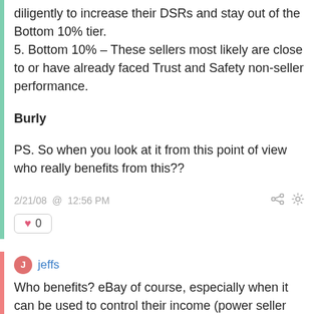diligently to increase their DSRs and stay out of the Bottom 10% tier.
5. Bottom 10% – These sellers most likely are close to or have already faced Trust and Safety non-seller performance.
Burly
PS. So when you look at it from this point of view who really benefits from this??
2/21/08 @ 12:56 PM
0
jeffs
Who benefits? eBay of course, especially when it can be used to control their income (power seller